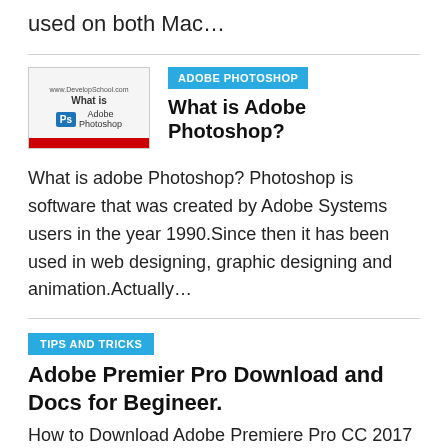used on both Mac…
[Figure (screenshot): Thumbnail image showing 'What is Adobe Photoshop' with Ps logo]
ADOBE PHOTOSHOP
What is Adobe Photoshop?
What is adobe Photoshop? Photoshop is software that was created by Adobe Systems users in the year 1990.Since then it has been used in web designing, graphic designing and animation.Actually…
TIPS AND TRICKS
Adobe Premier Pro Download and Docs for Begineer.
How to Download Adobe Premiere Pro CC 2017 3 There are…